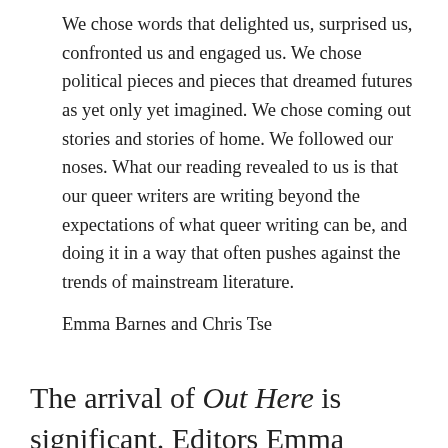We chose words that delighted us, surprised us, confronted us and engaged us. We chose political pieces and pieces that dreamed futures as yet only yet imagined. We chose coming out stories and stories of home. We followed our noses. What our reading revealed to us is that our queer writers are writing beyond the expectations of what queer writing can be, and doing it in a way that often pushes against the trends of mainstream literature.
Emma Barnes and Chris Tse
The arrival of Out Here is significant. Editors Emma Barnes and Chris Tse have